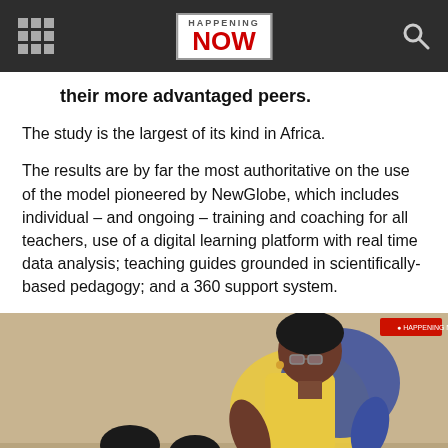HAPPENING NOW
their more advantaged peers.
The study is the largest of its kind in Africa.
The results are by far the most authoritative on the use of the model pioneered by NewGlobe, which includes individual – and ongoing – training and coaching for all teachers, use of a digital learning platform with real time data analysis; teaching guides grounded in scientifically-based pedagogy; and a 360 support system.
[Figure (photo): A female teacher wearing glasses and a yellow vest over a blue patterned top leans over students in a classroom setting, appearing to assist or check on a student's work.]